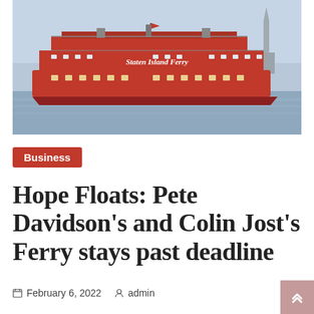[Figure (photo): A large red Staten Island Ferry boat on blue-grey water with the Statue of Liberty visible in the background on the right side.]
Business
Hope Floats: Pete Davidson's and Colin Jost's Ferry stays past deadline
February 6, 2022  admin